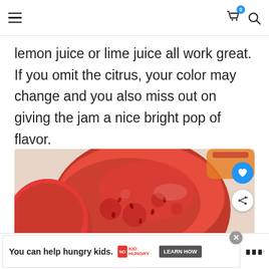Navigation bar with hamburger menu, cart icon (0), and search icon
lemon juice or lime juice all work great. If you omit the citrus, your color may change and you also miss out on giving the jam a nice bright pop of flavor.
[Figure (photo): Close-up photo of red strawberry jam in glass jars on a white surface]
Ad: You can help hungry kids. No Kid Hungry. LEARN HOW